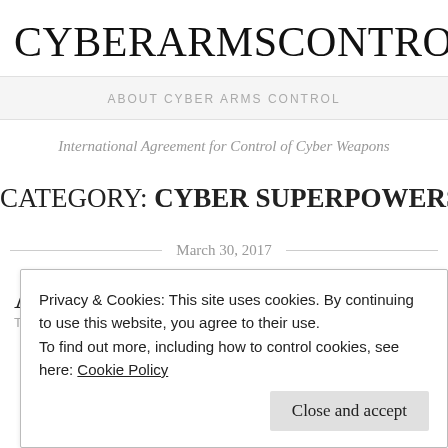CYBERARMSCONTROLBLO
ABOUT CYBER ARMS CONTROL
International Agreement for Control of Cyber Weapons
CATEGORY: CYBER SUPERPOWERS
March 30, 2017
Privacy & Cookies: This site uses cookies. By continuing to use this website, you agree to their use.
To find out more, including how to control cookies, see here: Cookie Policy
Close and accept